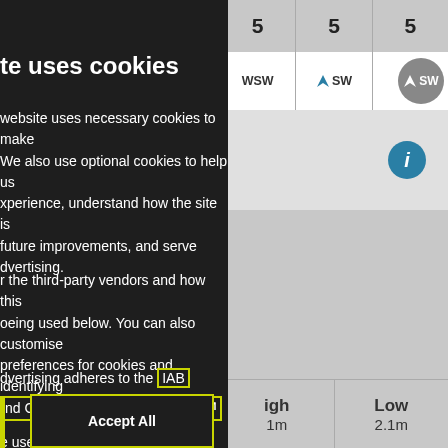te uses cookies
website uses necessary cookies to make We also use optional cookies to help us xperience, understand how the site is future improvements, and serve dvertising.
r the third-party vendors and how this oeing used below. You can also customise preferences for cookies and identifying
dvertising adheres to the IAB
nd Consent Framework (TCF).
e use of these technologies select u can change your preferences at any our cookie policy.
[Figure (screenshot): Weather forecast grid showing columns with values 5, 5, 5 at top, wind direction indicators WSW, SW, SW with teal arrows, an info circle icon, and a selected day circle. Bottom shows tide table with columns: igh (High) 1m, Low 2.1m.]